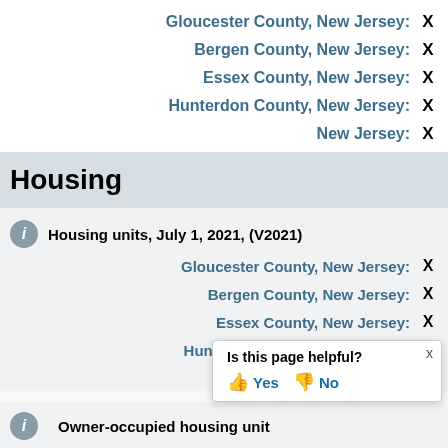Gloucester County, New Jersey: X
Bergen County, New Jersey: X
Essex County, New Jersey: X
Hunterdon County, New Jersey: X
New Jersey: X
Housing
Housing units, July 1, 2021, (V2021)
Gloucester County, New Jersey: X
Bergen County, New Jersey: X
Essex County, New Jersey: X
Hunterdon County, New Jersey: X
New Jersey: X
Owner-occupied housing unit...